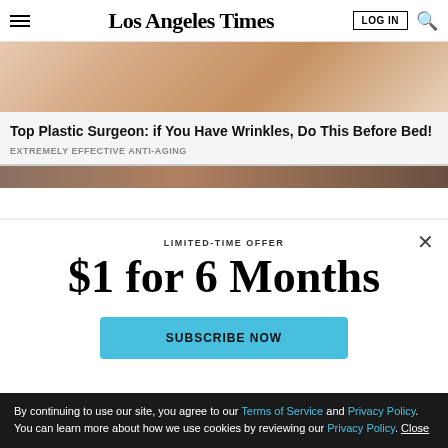Los Angeles Times
[Figure (photo): Close-up photo of a person's face/skin, used for an anti-aging advertisement]
Top Plastic Surgeon: if You Have Wrinkles, Do This Before Bed!
EXTREMELY EFFECTIVE ANTI-AGING
[Figure (photo): Partial image strip, second article thumbnail]
LIMITED-TIME OFFER
$1 for 6 Months
SUBSCRIBE NOW
By continuing to use our site, you agree to our Terms of Service and Privacy Policy. You can learn more about how we use cookies by reviewing our Privacy Policy. Close